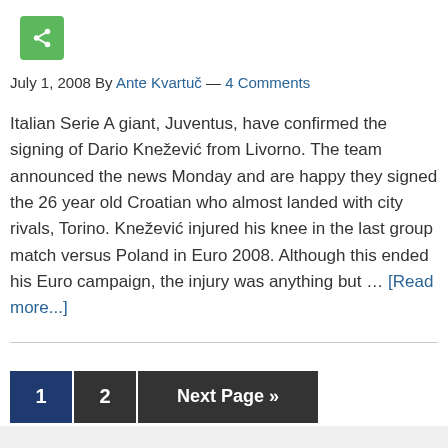[Figure (other): Green share button icon with arrow/share symbol]
July 1, 2008 By Ante Kvartuč — 4 Comments
Italian Serie A giant, Juventus, have confirmed the signing of Dario Knežević from Livorno. The team announced the news Monday and are happy they signed the 26 year old Croatian who almost landed with city rivals, Torino. Knežević injured his knee in the last group match versus Poland in Euro 2008. Although this ended his Euro campaign, the injury was anything but … [Read more...]
1  2  Next Page »